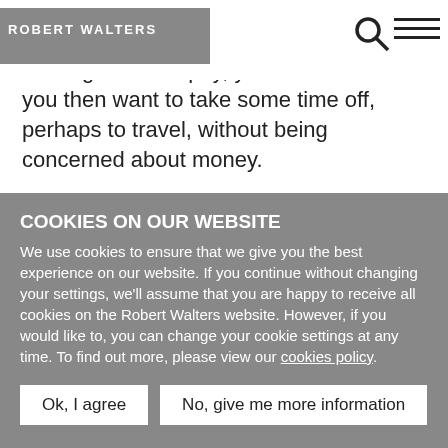ROBERT WALTERS
you work an eight or nine-month contract at a high level of pay, you can decide if you then want to take some time off, perhaps to travel, without being concerned about money.
Even if you go straight into another contract in the same type of role, you're changing your environment - you're dealing with different cultures, different sizes of company and different people, so you can keep renewing yourself. The biggest frustration on the other hand, is that you're often viewed as an outsider, or as someone who has taken
COOKIES ON OUR WEBSITE
We use cookies to ensure that we give you the best experience on our website. If you continue without changing your settings, we'll assume that you are happy to receive all cookies on the Robert Walters website. However, if you would like to, you can change your cookie settings at any time. To find out more, please view our cookies policy.
Ok, I agree | No, give me more information